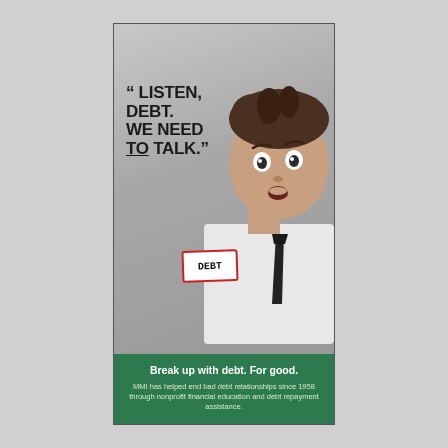[Figure (photo): Shocked/surprised man in white dress shirt and black tie wearing a red-bordered name tag that reads 'Debt', with messy dark hair, against a gray background. Bold dark text overlay reads: "LISTEN, DEBT. WE NEED TO TALK."]
Break up with debt. For good.
MMI has helped end bad debt relationships since 1958 through nonprofit financial education and debt repayment assistance.